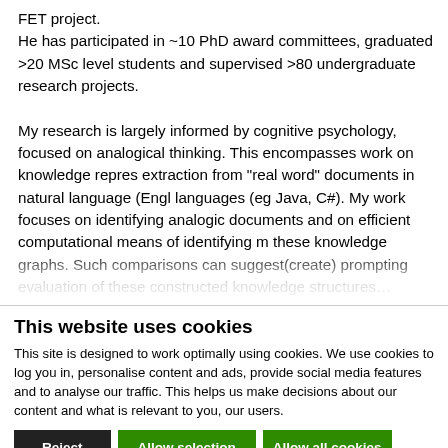FET project.
He has participated in ~10 PhD award committees, graduated >20 MSc level students and supervised >80 undergraduate research projects.

My research is largely informed by cognitive psychology, focused on analogical thinking. This encompasses work on knowledge representation, extraction from "real word" documents in natural language (English) and languages (eg Java, C#). My work focuses on identifying analogic patterns in documents and on efficient computational means of identifying mappings in these knowledge graphs. Such comparisons can suggest(create) prompting evaluation of these constructed knowledge structures
This website uses cookies
This site is designed to work optimally using cookies. We use cookies to log you in, personalise content and ads, provide social media features and to analyse our traffic. This helps us make decisions about our content and what is relevant to you, our users.
Reject | Allow selection | Allow all cookies
Necessary | Preferences | Statistics | Marketing | Show details